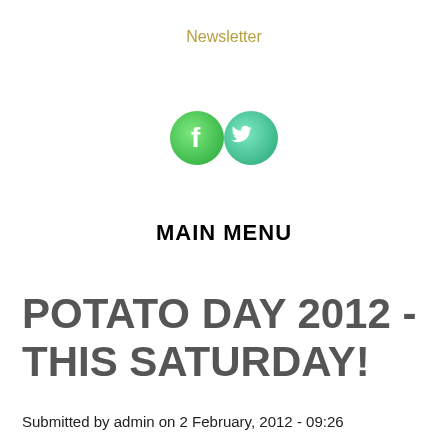Newsletter
[Figure (illustration): Two circular social media icons side by side: a green Facebook icon (letter f) and a green Twitter icon (bird), both with gradient green backgrounds]
MAIN MENU
POTATO DAY 2012 - THIS SATURDAY!
Submitted by admin on 2 February, 2012 - 09:26